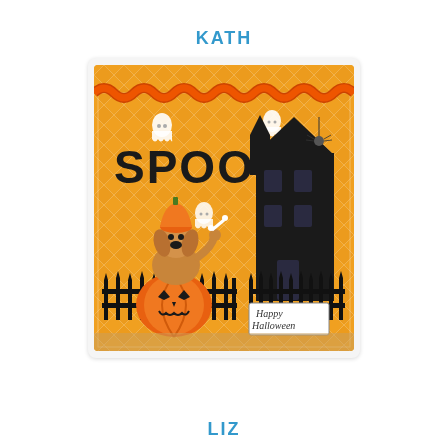KATH
[Figure (photo): A Halloween craft card featuring orange diamond-patterned background with 'SPOOKY' letters, a dog in a pumpkin costume, haunted house silhouette, ghost decorations, a jack-o-lantern, black fence, orange rick-rack ribbon trim at top, spider, and 'Happy Halloween' tag. Handmade greeting card.]
LIZ